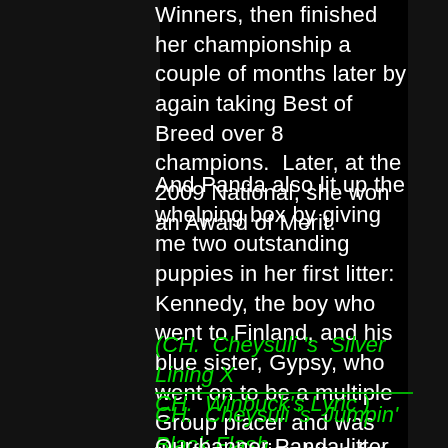Winners, then finished her championship a couple of months later by again taking Best of Breed over 8 champions. Later, at the 2009 National, she won an Award of Merit.
And Panda also lit up the whelping box by giving me two outstanding puppies in her first litter: Kennedy, the boy who went to Finland, and his blue sister, Gypsy, who went on to be a multiple Group placer and was the foundation bitch for Rita Wagoner's Rochar Cardigans.
(CH. Cheysuli's Silver Lining X CH. Winbuck's Lyric)
CH. Cheysuli's Jumpin' Black Flash
Our banner Panda litter also became